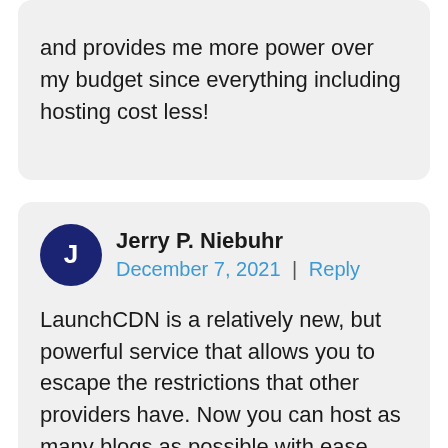and provides me more power over my budget since everything including hosting cost less!
Jerry P. Niebuhr
December 7, 2021 | Reply
LaunchCDN is a relatively new, but powerful service that allows you to escape the restrictions that other providers have. Now you can host as many blogs as possible with ease and without any worry about footprints